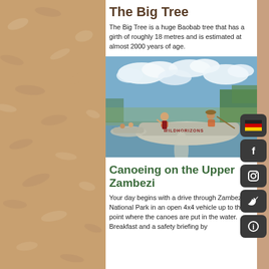The Big Tree
The Big Tree is a huge Baobab tree that has a girth of roughly 18 metres and is estimated at almost 2000 years of age.
[Figure (photo): People canoeing on a river in inflatable rafts labelled WILDHORIZONS, wearing orange life jackets, with cloudy sky and green trees in background.]
Canoeing on the Upper Zambezi
Your day begins with a drive through Zambezi National Park in an open 4x4 vehicle up to the point where the canoes are put in the water. Breakfast and a safety briefing by